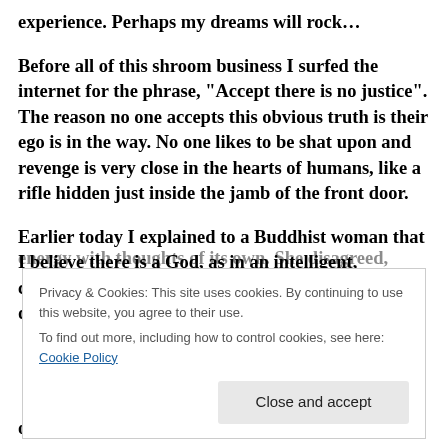experience. Perhaps my dreams will rock...
Before all of this shroom business I surfed the internet for the phrase, “Accept there is no justice”. The reason no one accepts this obvious truth is their ego is in the way. No one likes to be shat upon and revenge is very close in the hearts of humans, like a rifle hidden just inside the jamb of the front door.
Earlier today I explained to a Buddhist woman that I believe there is a God, as in an intelligent, conscious energy with thoughts of its own. She disagreed, using
Privacy & Cookies: This site uses cookies. By continuing to use this website, you agree to their use.
To find out more, including how to control cookies, see here: Cookie Policy
or not, historically-speaking, the best-functioning